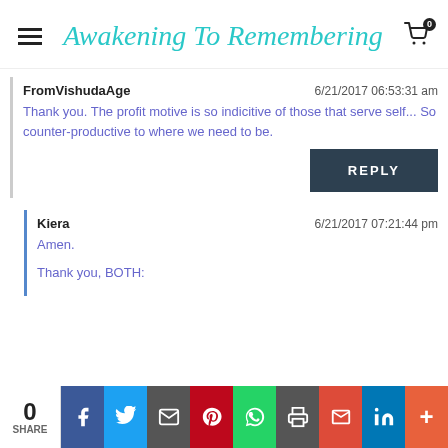Awakening To Remembering
FromVishudaAge   6/21/2017 06:53:31 am
Thank you. The profit motive is so indicitive of those that serve self... So counter-productive to where we need to be.
REPLY
Kiera   6/21/2017 07:21:44 pm
Amen.

Thank you, BOTH:
0 SHARE | Facebook | Twitter | Email | Pinterest | WhatsApp | Print | Gmail | LinkedIn | More